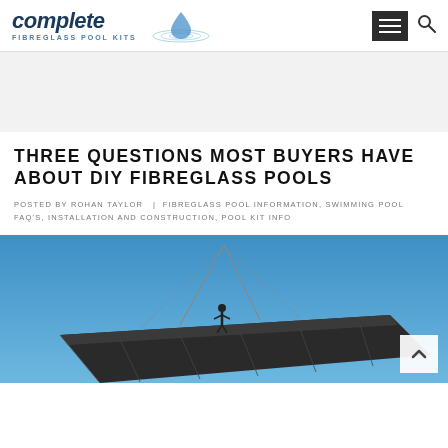complete FIBREGLASS POOL KITS
THREE QUESTIONS MOST BUYERS HAVE ABOUT DIY FIBREGLASS POOLS
POSTED BY ROHAN TAYLOR | FIBREGLASS POOL INFORMATION, SWIMMING POOL FAQ'S, INSTALLATION AND CONSTRUCTION, POOL KIT INFO
[Figure (photo): A person standing on what appears to be a large fibreglass pool shell being craned/transported against a blue sky background]